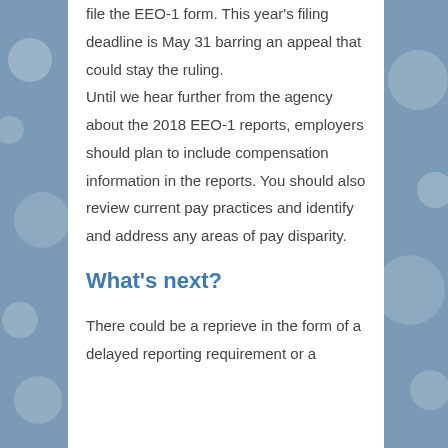file the EEO-1 form. This year's filing deadline is May 31 barring an appeal that could stay the ruling.
Until we hear further from the agency about the 2018 EEO-1 reports, employers should plan to include compensation information in the reports. You should also review current pay practices and identify and address any areas of pay disparity.
What's next?
There could be a reprieve in the form of a delayed reporting requirement or a